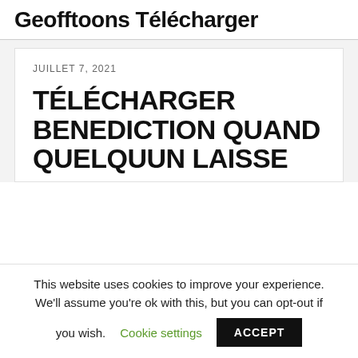Geofftoons Télécharger
JUILLET 7, 2021
TÉLÉCHARGER BENEDICTION QUAND QUELQUUN LAISSE
This website uses cookies to improve your experience. We'll assume you're ok with this, but you can opt-out if you wish. Cookie settings ACCEPT